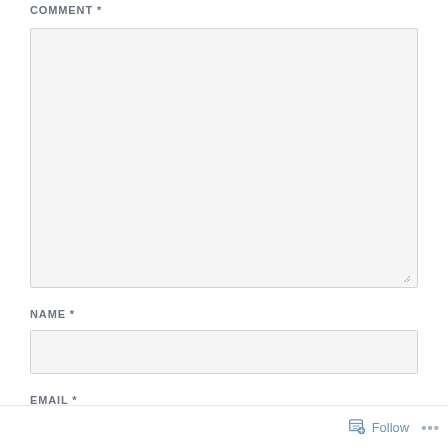COMMENT *
[Figure (other): Large empty textarea input field for comment entry with resize handle in bottom-right corner]
NAME *
[Figure (other): Single-line text input field for name entry]
EMAIL *
Follow ...